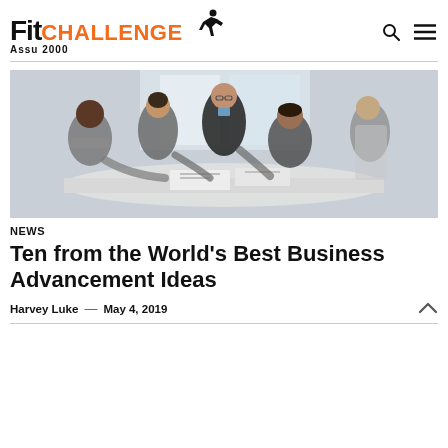Fit CHALLENGE Assu 2000
[Figure (photo): Business meeting photo: five professionals in suits sitting around a white table reviewing documents, office setting with windows in background]
NEWS
Ten from the World's Best Business Advancement Ideas
Harvey Luke  —  May 4, 2019